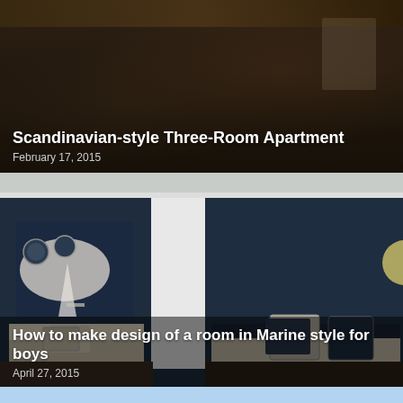[Figure (photo): Interior photo of a Scandinavian-style apartment room with dark wood furniture]
Scandinavian-style Three-Room Apartment
February 17, 2015
[Figure (photo): Interior photo of a navy blue marine-style boys room with world map wall art, sailboat decor, life preserver rings, and beds with nautical bedding]
How to make design of a room in Marine style for boys
April 27, 2015